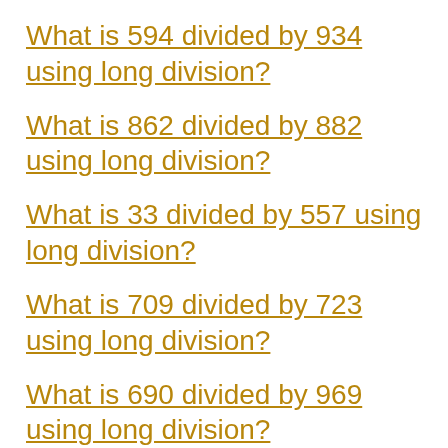What is 594 divided by 934 using long division?
What is 862 divided by 882 using long division?
What is 33 divided by 557 using long division?
What is 709 divided by 723 using long division?
What is 690 divided by 969 using long division?
What is 612 divided by 738 using long division?